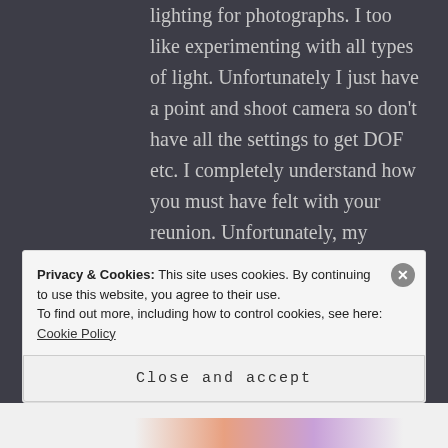lighting for photographs. I too like experimenting with all types of light. Unfortunately I just have a point and shoot camera so don't have all the settings to get DOF etc. I completely understand how you must have felt with your reunion. Unfortunately, my classmates too are spread around the world – I like the idea of starting up a Whatsapp group (something I've only just started with my own family in England).
Privacy & Cookies: This site uses cookies. By continuing to use this website, you agree to their use. To find out more, including how to control cookies, see here: Cookie Policy
Close and accept